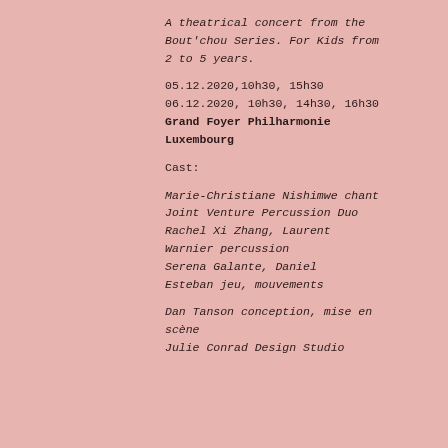A theatrical concert from the Bout'chou Series. For Kids from 2 to 5 years.
05.12.2020,10h30, 15h30
06.12.2020, 10h30, 14h30, 16h30
Grand Foyer Philharmonie Luxembourg
Cast:
Marie-Christiane Nishimwe chant
Joint Venture Percussion Duo
Rachel Xi Zhang, Laurent Warnier percussion
Serena Galante, Daniel Esteban jeu, mouvements
Dan Tanson conception, mise en scène
Julie Conrad Design Studio